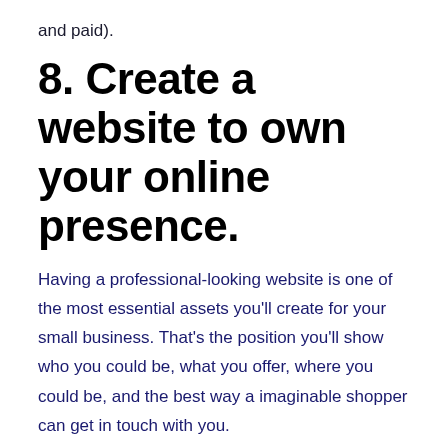and paid).
8. Create a website to own your online presence.
Having a professional-looking website is one of the most essential assets you'll create for your small business. That's the position you'll show who you could be, what you offer, where you could be, and the best way a imaginable shopper can get in touch with you.
This is a channel you'll always non-public